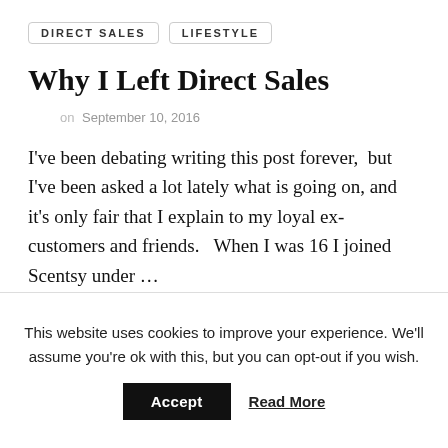DIRECT SALES   LIFESTYLE
Why I Left Direct Sales
on  September 10, 2016
I've been debating writing this post forever,  but I've been asked a lot lately what is going on, and it's only fair that I explain to my loyal ex-customers and friends.   When I was 16 I joined Scentsy under …
This website uses cookies to improve your experience. We'll assume you're ok with this, but you can opt-out if you wish.
Accept   Read More